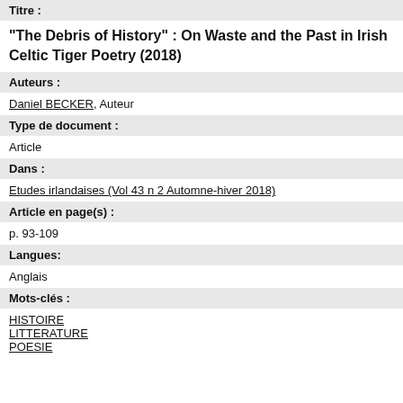Titre :
"The Debris of History" : On Waste and the Past in Irish Celtic Tiger Poetry (2018)
Auteurs :
Daniel BECKER, Auteur
Type de document :
Article
Dans :
Etudes irlandaises (Vol 43 n 2 Automne-hiver 2018)
Article en page(s) :
p. 93-109
Langues:
Anglais
Mots-clés :
HISTOIRE
LITTERATURE
POESIE